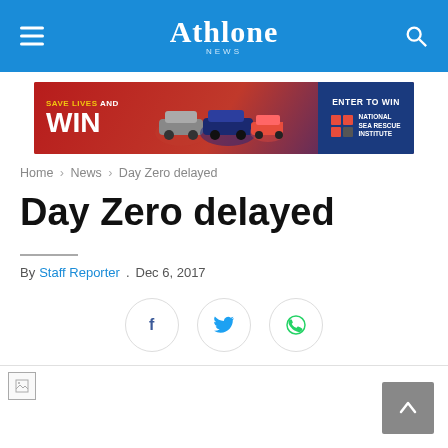Athlone News
[Figure (other): Advertisement banner: SAVE LIVES AND WIN with cars and ENTER TO WIN - National Sea Rescue Institute]
Home > News > Day Zero delayed
Day Zero delayed
By Staff Reporter   .  Dec 6, 2017
[Figure (infographic): Social sharing buttons: Facebook, Twitter, WhatsApp]
[Figure (photo): Article image placeholder (broken image icon)]